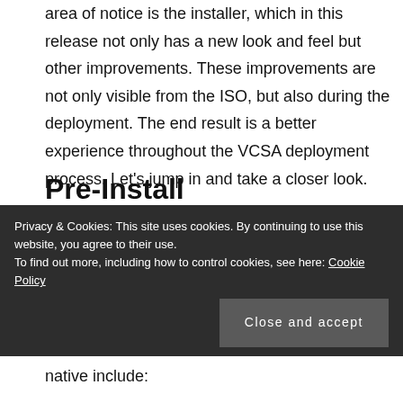area of notice is the installer, which in this release not only has a new look and feel but other improvements. These improvements are not only visible from the ISO, but also during the deployment. The end result is a better experience throughout the VCSA deployment process. Let's jump in and take a closer look.
Pre-Install
The VCSA installer is now browser agnostic, which makes it more portable. Along those lines, the Client
Privacy & Cookies: This site uses cookies. By continuing to use this website, you agree to their use.
To find out more, including how to control cookies, see here: Cookie Policy
Close and accept
native include: